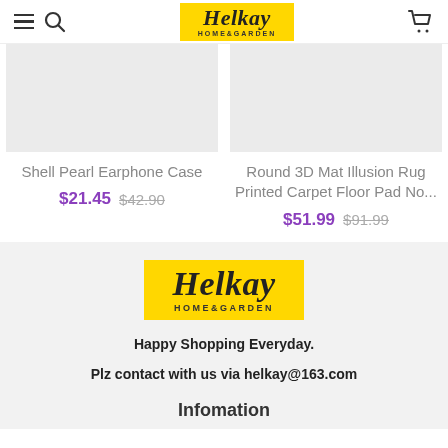[Figure (logo): Helkay HOME&GARDEN logo in yellow badge, header]
[Figure (photo): Product image placeholder for Shell Pearl Earphone Case]
Shell Pearl Earphone Case
$21.45  $42.90
[Figure (photo): Product image placeholder for Round 3D Mat Illusion Rug Printed Carpet Floor Pad No...]
Round 3D Mat Illusion Rug Printed Carpet Floor Pad No...
$51.99  $91.99
[Figure (logo): Helkay HOME&GARDEN logo in yellow badge, footer]
Happy Shopping Everyday.
Plz contact with us via helkay@163.com
Infomation